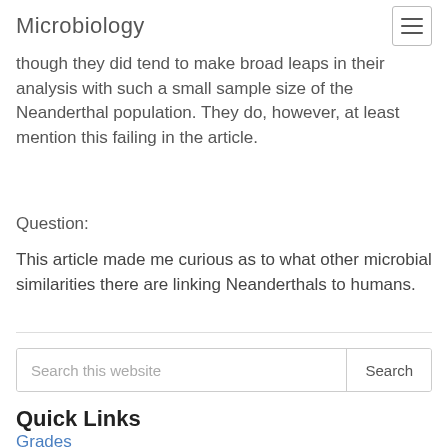Microbiology
though they did tend to make broad leaps in their analysis with such a small sample size of the Neanderthal population. They do, however, at least mention this failing in the article.
Question:
This article made me curious as to what other microbial similarities there are linking Neanderthals to humans.
Search this website
Quick Links
Grades